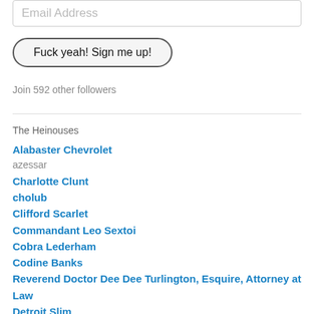Email Address
Fuck yeah! Sign me up!
Join 592 other followers
The Heinouses
Alabaster Chevrolet
azessar
Charlotte Clunt
cholub
Clifford Scarlet
Commandant Leo Sextoi
Cobra Lederham
Codine Banks
Reverend Doctor Dee Dee Turlington, Esquire, Attorney at Law
Detroit Slim
Doctor Tattersail
Dolphintail Foninoza